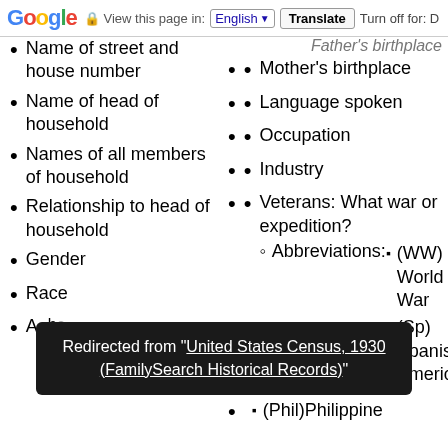Google — View this page in: English [▼] Translate Turn off for: D
Name of street and house number
Mother's birthplace
Name of head of household
Language spoken
Names of all members of household
Occupation
Relationship to head of household
Industry
Gender
Veterans: What war or expedition?
Abbreviations:
(WW) World War
(Sp) Spanish-American
Race
Ag[e]… be[tween]… approximate birth year) … ar
(Phil) Philippine
Redirected from "United States Census, 1930 (FamilySearch Historical Records)"